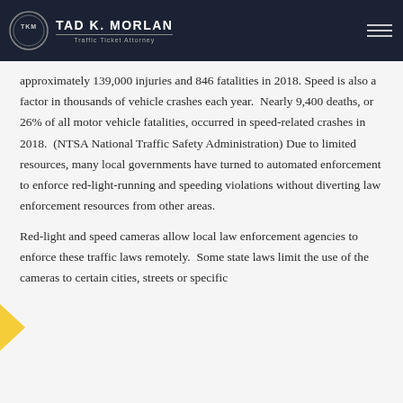TAD K. MORLAN — Traffic Ticket Attorney
approximately 139,000 injuries and 846 fatalities in 2018. Speed is also a factor in thousands of vehicle crashes each year.  Nearly 9,400 deaths, or 26% of all motor vehicle fatalities, occurred in speed-related crashes in 2018.  (NTSA National Traffic Safety Administration) Due to limited resources, many local governments have turned to automated enforcement to enforce red-light-running and speeding violations without diverting law enforcement resources from other areas.
Red-light and speed cameras allow local law enforcement agencies to enforce these traffic laws remotely.  Some state laws limit the use of the cameras to certain cities, streets or specific